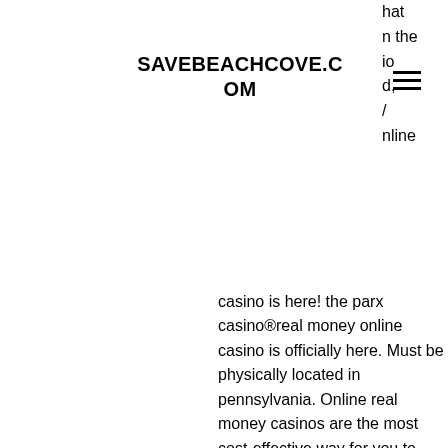SAVEBEACHCOVE.COM
hat
n the
io
d,
/
nline
casino is here! the parx casino®real money online casino is officially here. Must be physically located in pennsylvania. Online real money casinos are the most cost-effective way for you to play blackjack, play baccarat, play roulette, or play real slots games. You can take your. Top casinos for real money slots ; 3. 12000 zar + 30 fs ; 4. 100 fs ; 5. 10000 zar ; 6 Betway is a well-renowned online casino with an excellent range of high-quality real money online casino games. This experienced operator attracts live casino. The best online casinos with real money games. Red dog: host overall casino site; ignition; host